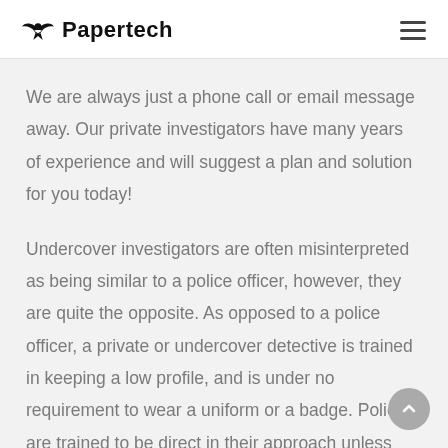Papertech
We are always just a phone call or email message away. Our private investigators have many years of experience and will suggest a plan and solution for you today!
Undercover investigators are often misinterpreted as being similar to a police officer, however, they are quite the opposite. As opposed to a police officer, a private or undercover detective is trained in keeping a low profile, and is under no requirement to wear a uniform or a badge. Police are trained to be direct in their approach unless